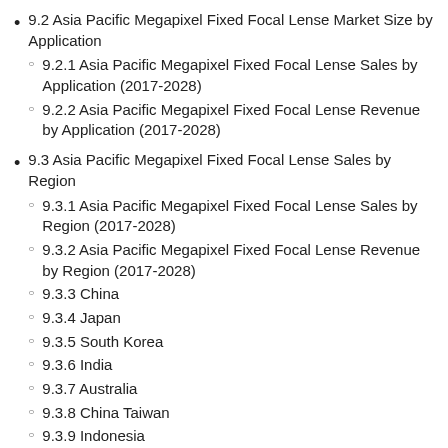9.2 Asia Pacific Megapixel Fixed Focal Lense Market Size by Application
9.2.1 Asia Pacific Megapixel Fixed Focal Lense Sales by Application (2017-2028)
9.2.2 Asia Pacific Megapixel Fixed Focal Lense Revenue by Application (2017-2028)
9.3 Asia Pacific Megapixel Fixed Focal Lense Sales by Region
9.3.1 Asia Pacific Megapixel Fixed Focal Lense Sales by Region (2017-2028)
9.3.2 Asia Pacific Megapixel Fixed Focal Lense Revenue by Region (2017-2028)
9.3.3 China
9.3.4 Japan
9.3.5 South Korea
9.3.6 India
9.3.7 Australia
9.3.8 China Taiwan
9.3.9 Indonesia
9.3.10 Thailand